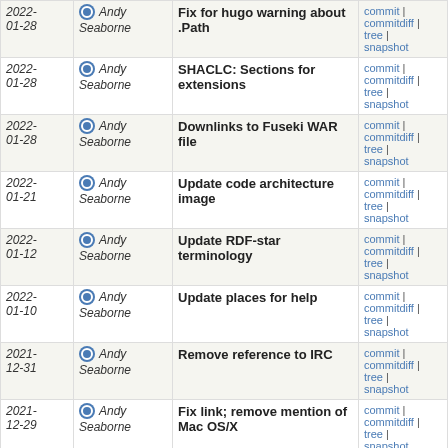| Date | Author | Commit message | Links |
| --- | --- | --- | --- |
| 2022-01-28 | Andy Seaborne | Fix for hugo warning about .Path | commit | commitdiff | tree | snapshot |
| 2022-01-28 | Andy Seaborne | SHACLC: Sections for extensions | commit | commitdiff | tree | snapshot |
| 2022-01-28 | Andy Seaborne | Downlinks to Fuseki WAR file | commit | commitdiff | tree | snapshot |
| 2022-01-21 | Andy Seaborne | Update code architecture image | commit | commitdiff | tree | snapshot |
| 2022-01-12 | Andy Seaborne | Update RDF-star terminology | commit | commitdiff | tree | snapshot |
| 2022-01-10 | Andy Seaborne | Update places for help | commit | commitdiff | tree | snapshot |
| 2021-12-31 | Andy Seaborne | Remove reference to IRC | commit | commitdiff | tree | snapshot |
| 2021-12-29 | Andy Seaborne | Fix link; remove mention of Mac OS/X | commit | commitdiff | tree | snapshot |
| 2021-12-28 | Bruno P. Kinoshita | Add Citing section to site | commit | commitdiff | tree | snapshot |
| 2021-12-18 | Andy Seaborne | Download links for 4.3.2 | commit | commitdiff | tree | snapshot |